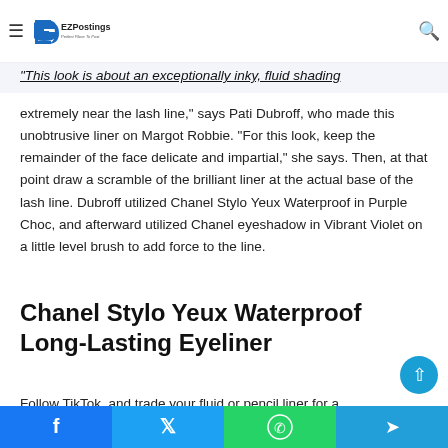EZPostings — Perfect Place To Post
Try Purple For Makeup Look
"This look is about an exceptionally inky, fluid shading extremely near the lash line," says Pati Dubroff, who made this unobtrusive liner on Margot Robbie. "For this look, keep the remainder of the face delicate and impartial," she says. Then, at that point draw a scramble of the brilliant liner at the actual base of the lash line. Dubroff utilized Chanel Stylo Yeux Waterproof in Purple Choc, and afterward utilized Chanel eyeshadow in Vibrant Violet on a little level brush to add force to the line.
Chanel Stylo Yeux Waterproof Long-Lasting Eyeliner
Follow TikTok, and trade your fluid or pencil liner for a